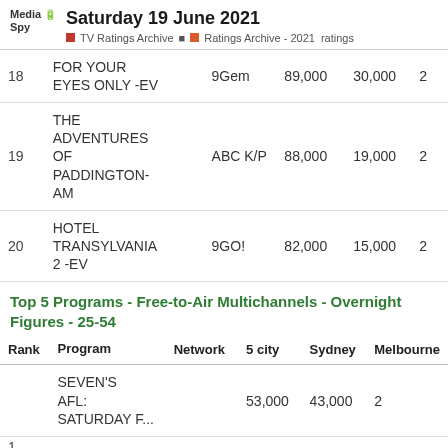Saturday 19 June 2021 – TV Ratings Archive – Ratings Archive - 2021 ratings
| Rank | Program | Network | 5 city | Sydney | Melbourne |
| --- | --- | --- | --- | --- | --- |
| 18 | FOR YOUR EYES ONLY -EV | 9Gem | 89,000 | 30,000 | 2 |
| 19 | THE ADVENTURES OF PADDINGTON- AM | ABC K/P | 88,000 | 19,000 | 2 |
| 20 | HOTEL TRANSYLVANIA 2 -EV | 9GO! | 82,000 | 15,000 | 2 |
Top 5 Programs - Free-to-Air Multichannels - Overnight Figures - 25-54
| Rank | Program | Network | 5 city | Sydney | Melbourne |
| --- | --- | --- | --- | --- | --- |
| 1 | SEVEN'S AFL: SATURDAY F... |  | 53,000 | 43,000 | 2 |